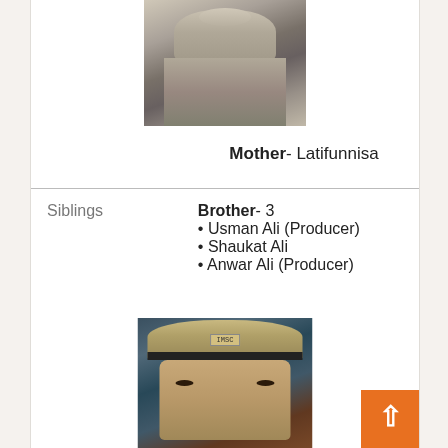[Figure (photo): Black and white photo of a person, upper body, looking slightly to the side]
Mother- Latifunnisa
|  |  |
| --- | --- |
| Siblings | Brother- 3
• Usman Ali (Producer)
• Shaukat Ali
• Anwar Ali (Producer) |
[Figure (photo): Color photo of a man wearing a military-style cap with a badge, in uniform]
[Figure (other): Orange back-to-top button with white upward arrow]